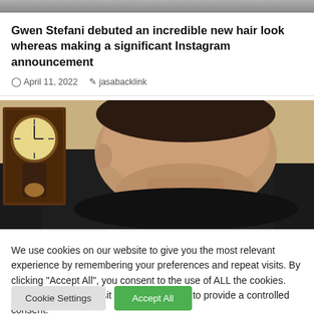[Figure (photo): Partial top edge of an image, showing the bottom strip of a photo above the article card]
Gwen Stefani debuted an incredible new hair look whereas making a significant Instagram announcement
April 11, 2022   jasabacklink
[Figure (photo): A man in a black shirt seated indoors, a wooden clock visible in the background on the upper left]
We use cookies on our website to give you the most relevant experience by remembering your preferences and repeat visits. By clicking "Accept All", you consent to the use of ALL the cookies. However, you may visit "Cookie Settings" to provide a controlled consent.
Cookie Settings   Accept All